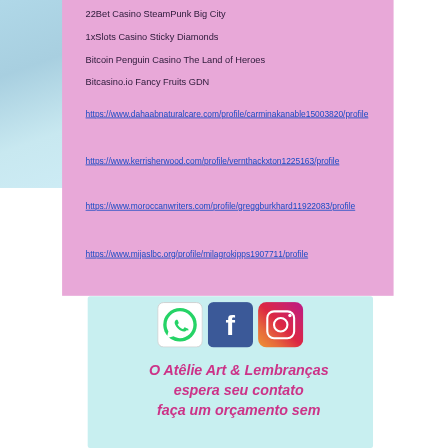22Bet Casino SteamPunk Big City
1xSlots Casino Sticky Diamonds
Bitcoin Penguin Casino The Land of Heroes
Bitcasino.io Fancy Fruits GDN
https://www.dahaabnaturalcare.com/profile/carminakanable15003820/profile
https://www.kerrisherwood.com/profile/vernthackxton1225163/profile
https://www.moroccanwriters.com/profile/greggburkhard11922083/profile
https://www.mijaslbc.org/profile/milagrokipps1907711/profile
[Figure (infographic): Social media icons: WhatsApp (green), Facebook (dark blue), Instagram (gradient orange-pink)]
O Atêlie Art & Lembranças espera seu contato faça um orçamento sem